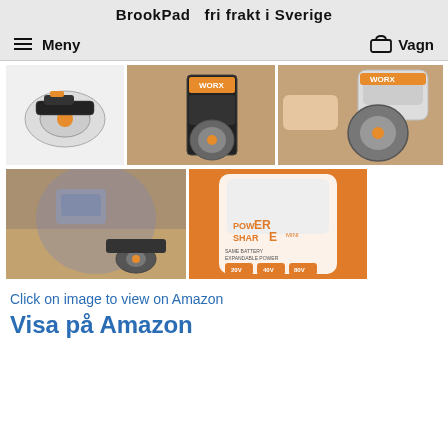BrookPad   fri frakt i Sverige
Meny
Vagn
[Figure (photo): Small WORX circular saw tool on white background]
[Figure (photo): WORX circular saw cutting wood on workshop table, orange and black tool]
[Figure (photo): Hand holding WORX circular saw tool, orange and black]
[Figure (photo): Man kneeling on floor cutting wood with WORX circular saw]
[Figure (photo): Orange promotional image for WORX PowerShare Mini with battery system logos 20V 40V 80V]
Click on image to view on Amazon
Visa på Amazon